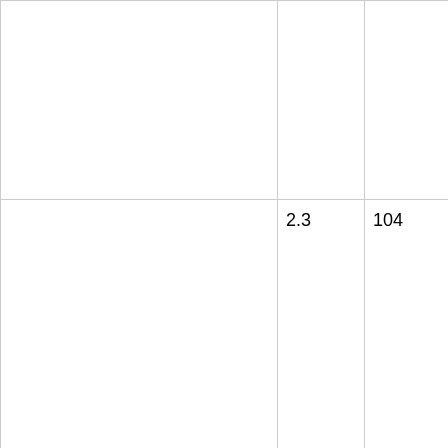|  |  |  | 093 09...
097 09...
100 10...
104 11... |
|  | 2.3 | 104 | CC.001
CC.002
Obj1.V
Obj2.V
Obj3.V
RQ.00
004 00...
011 01...
015 01...
017 01...
019 02...
021 02...
023 02...
025 02...
027 02... |